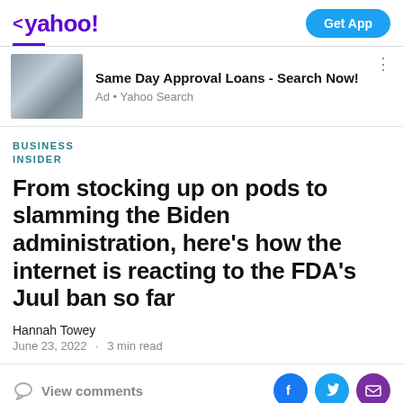< yahoo!   Get App
[Figure (photo): Advertisement banner with photo of couple and text 'Same Day Approval Loans - Search Now!' Ad • Yahoo Search]
BUSINESS INSIDER
From stocking up on pods to slamming the Biden administration, here's how the internet is reacting to the FDA's Juul ban so far
Hannah Towey
June 23, 2022 · 3 min read
View comments